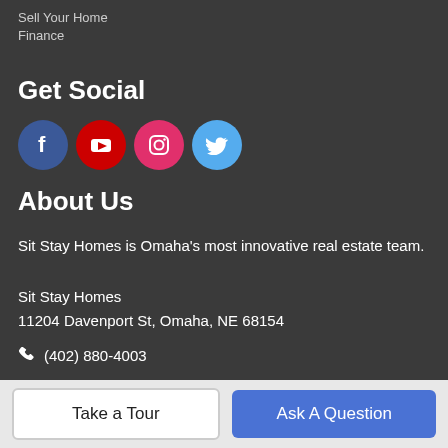Sell Your Home
Finance
Get Social
[Figure (other): Social media icons row: Facebook (blue circle), YouTube (red circle), Instagram (pink/magenta circle), Twitter (light blue circle)]
About Us
Sit Stay Homes is Omaha's most innovative real estate team.
Sit Stay Homes
11204 Davenport St, Omaha, NE 68154
📞 (402) 880-4003
Listing information © 2023 Great Plains Regional MLS. The...
Take a Tour
Ask A Question